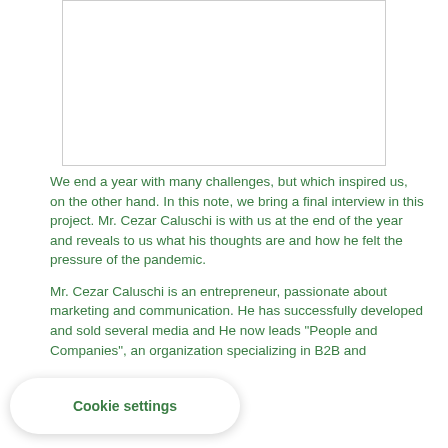[Figure (photo): A photo placeholder box, white background with thin border, positioned at top center of the page.]
We end a year with many challenges, but which inspired us, on the other hand. In this note, we bring a final interview in this project. Mr. Cezar Caluschi is with us at the end of the year and reveals to us what his thoughts are and how he felt the pressure of the pandemic.
Mr. Cezar Caluschi is an entrepreneur, passionate about marketing and communication. He has successfully developed and sold several media and He now leads "People and Companies", an organization specializing in B2B and